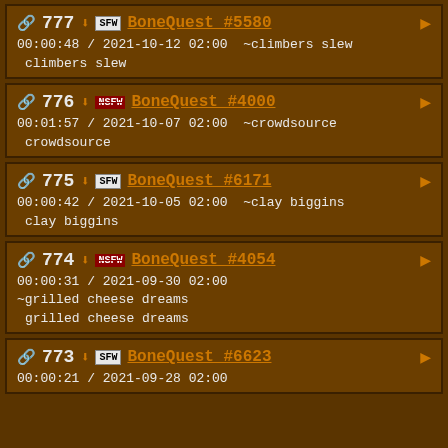777 BoneQuest #5580 00:00:48 / 2021-10-12 02:00 ~climbers slew climbers slew
776 BoneQuest #4000 00:01:57 / 2021-10-07 02:00 ~crowdsource crowdsource
775 BoneQuest #6171 00:00:42 / 2021-10-05 02:00 ~clay biggins clay biggins
774 BoneQuest #4054 00:00:31 / 2021-09-30 02:00 ~grilled cheese dreams grilled cheese dreams
773 BoneQuest #6623 00:00:21 / 2021-09-28 02:00